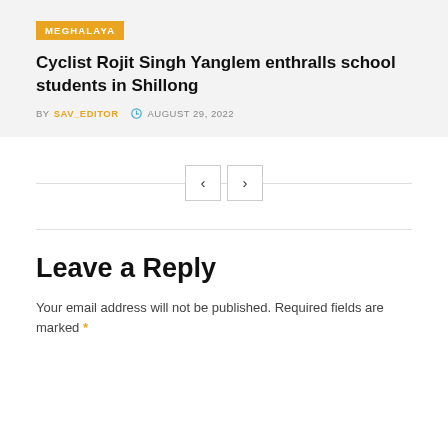MEGHALAYA
Cyclist Rojit Singh Yanglem enthralls school students in Shillong
BY SAV_EDITOR  AUGUST 29, 2022
Leave a Reply
Your email address will not be published. Required fields are marked *